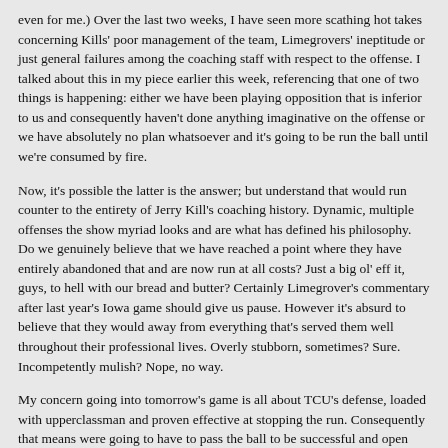even for me.) Over the last two weeks, I have seen more scathing hot takes concerning Kills' poor management of the team, Limegrovers' ineptitude or just general failures among the coaching staff with respect to the offense. I talked about this in my piece earlier this week, referencing that one of two things is happening: either we have been playing opposition that is inferior to us and consequently haven't done anything imaginative on the offense or we have absolutely no plan whatsoever and it's going to be run the ball until we're consumed by fire.
Now, it's possible the latter is the answer; but understand that would run counter to the entirety of Jerry Kill's coaching history. Dynamic, multiple offenses the show myriad looks and are what has defined his philosophy. Do we genuinely believe that we have reached a point where they have entirely abandoned that and are now run at all costs? Just a big ol' eff it, guys, to hell with our bread and butter? Certainly Limegrover's commentary after last year's Iowa game should give us pause. However it's absurd to believe that they would away from everything that's served them well throughout their professional lives. Overly stubborn, sometimes? Sure. Incompetently mulish? Nope, no way.
My concern going into tomorrow's game is all about TCU's defense, loaded with upperclassman and proven effective at stopping the run. Consequently that means were going to have to pass the ball to be successful and open things up a little (ANALYSIS). However, if we're unable to do that against TCU, I don't necessarily believe that that means that there is some deficiency with Kill or Limegrover. We won eight games last year. We have a tough schedule this year we may not win eight games this year; but I feel like we're going to win somewhere between six and eight games and have a competent squad. I'll knife fight anyone who claims that recognition of things taking a bit longer to get going offensively is some lame acceptance of mediocrity. We all want a quick fix, to score a million points and rack up 500 yards passing. We're not there yet, not by any stretch. That doesn't mean that all hope was lost or we need to fire our